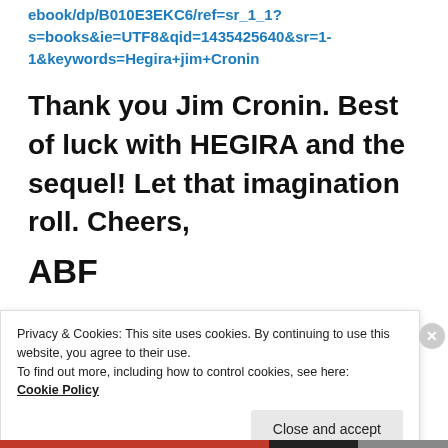ebook/dp/B010E3EKC6/ref=sr_1_1?s=books&ie=UTF8&qid=1435425640&sr=1-1&keywords=Hegira+jim+Cronin
Thank you Jim Cronin. Best of luck with HEGIRA and the sequel! Let that imagination roll. Cheers,
ABF
Privacy & Cookies: This site uses cookies. By continuing to use this website, you agree to their use.
To find out more, including how to control cookies, see here:
Cookie Policy
Close and accept